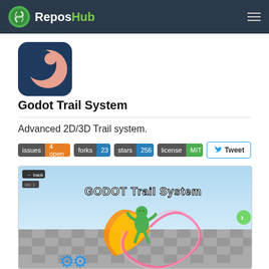ReposHub
[Figure (logo): Godot Trail System logo — dark blue rounded square with a pink/salmon crescent moon and circular dot]
Godot Trail System
Advanced 2D/3D Trail system.
issues 4 open  forks 23  stars 256  license MIT  Tweet
[Figure (screenshot): Screenshot of Godot Trail System demo showing a 3D green character with orange fire and pink/red circular trail effects on a checkerboard ground with light blue sky. Text reads GODOT Trail System.]